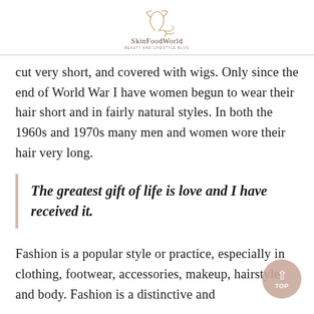SkinFoodWorld
cut very short, and covered with wigs. Only since the end of World War I have women begun to wear their hair short and in fairly natural styles. In both the 1960s and 1970s many men and women wore their hair very long.
The greatest gift of life is love and I have received it.
Fashion is a popular style or practice, especially in clothing, footwear, accessories, makeup, hairstyle and body. Fashion is a distinctive and